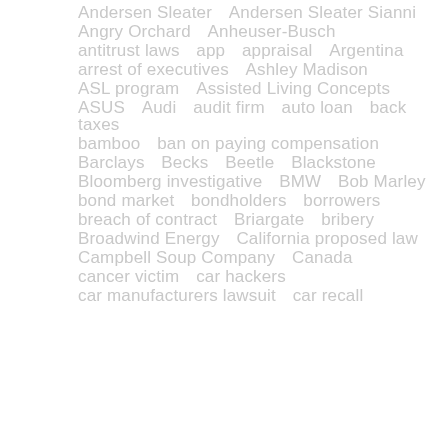Andersen Sleater   Andersen Sleater Sianni
Angry Orchard   Anheuser-Busch
antitrust laws   app   appraisal   Argentina
arrest of executives   Ashley Madison
ASL program   Assisted Living Concepts
ASUS   Audi   audit firm   auto loan   back taxes
bamboo   ban on paying compensation
Barclays   Becks   Beetle   Blackstone
Bloomberg investigative   BMW   Bob Marley
bond market   bondholders   borrowers
breach of contract   Briargate   bribery
Broadwind Energy   California proposed law
Campbell Soup Company   Canada
cancer victim   car hackers
car manufacturers lawsuit   car recall